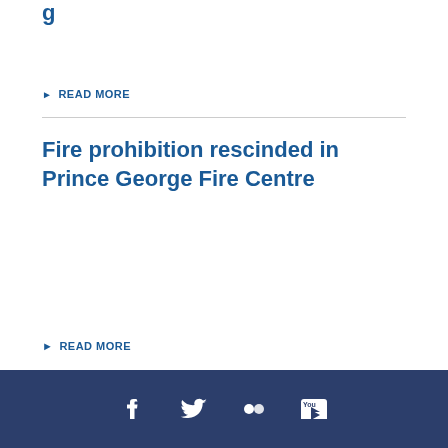g
READ MORE
Fire prohibition rescinded in Prince George Fire Centre
READ MORE
Social media icons: Facebook, Twitter, Flickr, YouTube